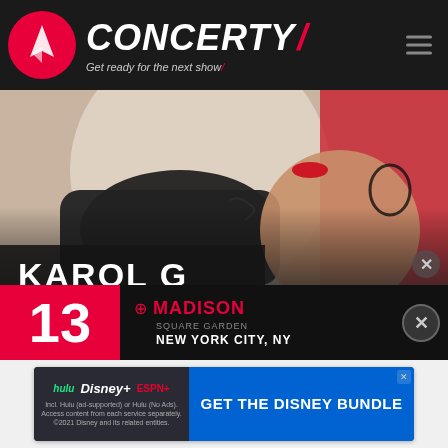CONCERTY — Get ready for the next show
[Figure (photo): Promotional photo of Karol G, a blonde female artist with red lipstick wearing a dark sweater, posed against a red and light background]
KAROL G
13 — MADISON — NEW YORK CITY, NY
[Figure (other): Disney Bundle advertisement banner featuring Hulu, Disney+, and ESPN+ logos with text GET THE DISNEY BUNDLE. Incl. Hulu (ad-supported) or Hulu (No Ads). Access content from each service separately. ©2021 Disney and its related entities.]